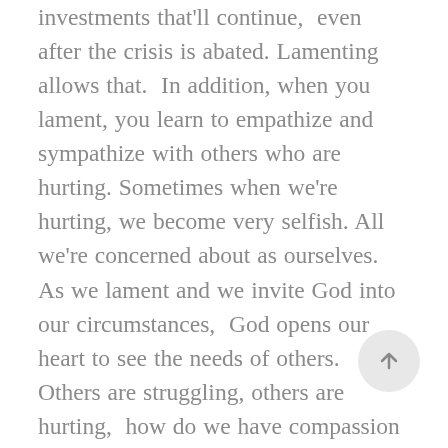investments that'll continue, even after the crisis is abated. Lamenting allows that. In addition, when you lament, you learn to empathize and sympathize with others who are hurting. Sometimes when we're hurting, we become very selfish. All we're concerned about as ourselves. As we lament and we invite God into our circumstances, God opens our heart to see the needs of others. Others are struggling, others are hurting, how do we have compassion for them, how do we love them, how do we help them, how do we serve them, how do we seek to bring the peace and presence of God's love into their circumstances as well? Lamenting allows us to deal with our stuff so we can help them